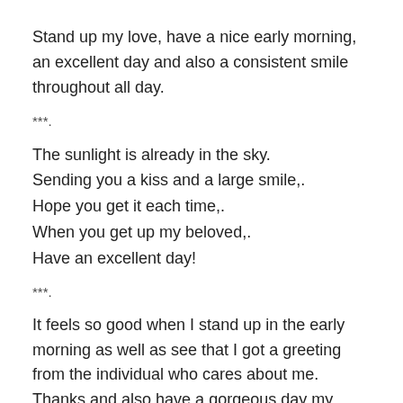Stand up my love, have a nice early morning, an excellent day and also a consistent smile throughout all day.
***.
The sunlight is already in the sky.
Sending you a kiss and a large smile,.
Hope you get it each time,.
When you get up my beloved,.
Have an excellent day!
***.
It feels so good when I stand up in the early morning as well as see that I got a greeting from the individual who cares about me. Thanks and also have a gorgeous day my sweetie.
The breeze of this cold early morning reminds me of the